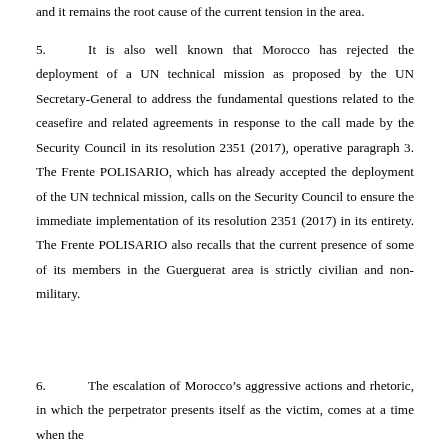and it remains the root cause of the current tension in the area.
5.       It is also well known that Morocco has rejected the deployment of a UN technical mission as proposed by the UN Secretary-General to address the fundamental questions related to the ceasefire and related agreements in response to the call made by the Security Council in its resolution 2351 (2017), operative paragraph 3. The Frente POLISARIO, which has already accepted the deployment of the UN technical mission, calls on the Security Council to ensure the immediate implementation of its resolution 2351 (2017) in its entirety. The Frente POLISARIO also recalls that the current presence of some of its members in the Guerguerat area is strictly civilian and non-military.
6.       The escalation of Morocco’s aggressive actions and rhetoric, in which the perpetrator presents itself as the victim, comes at a time when the